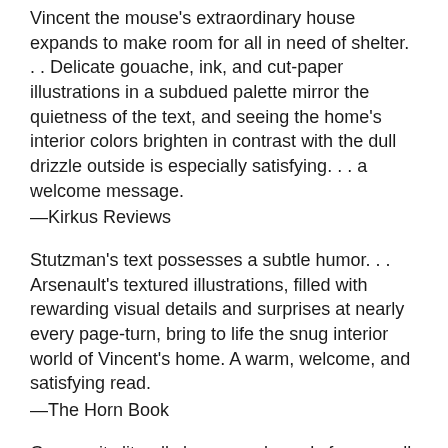Vincent the mouse's extraordinary house expands to make room for all in need of shelter. . . Delicate gouache, ink, and cut-paper illustrations in a subdued palette mirror the quietness of the text, and seeing the home's interior colors brighten in contrast with the dull drizzle outside is especially satisfying. . . a welcome message.
—Kirkus Reviews
Stutzman's text possesses a subtle humor. . . Arsenault's textured illustrations, filled with rewarding visual details and surprises at nearly every page-turn, bring to life the snug interior world of Vincent's home. A warm, welcome, and satisfying read.
—The Horn Book
Generosity literally knows no bounds for a small, red-nosed mouse named Vincent in this picture book. . . . an all-too-timely message of open doors and open hearts.
—Publishers Weekly